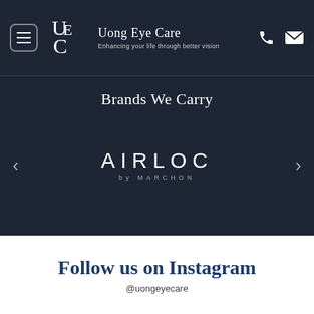Uong Eye Care — Enhancing your life through better vision
Brands We Carry
[Figure (logo): AIRLOC by MARCHON brand logo in white text on dark background]
Follow us on Instagram
@uongeyecare